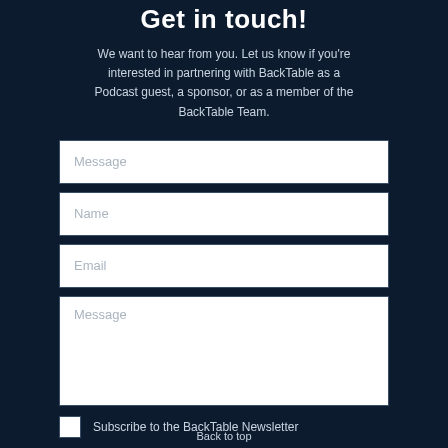Get in touch!
We want to hear from you. Let us know if you're interested in partnering with BackTable as a Podcast guest, a sponsor, or as a member of the BackTable Team.
Name
Email
Message
Subscribe to the BackTable Newsletter
Submit
Back to top